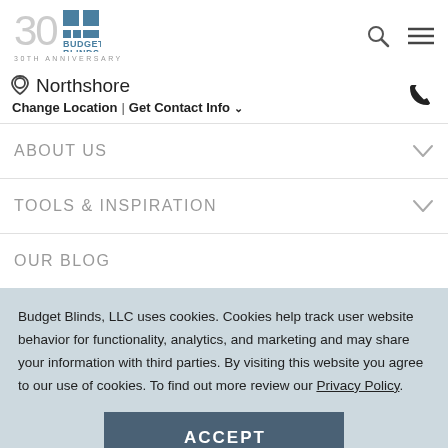[Figure (logo): Budget Blinds 30th Anniversary logo with teal squares and text]
Northshore
Change Location | Get Contact Info ∨
ABOUT US
TOOLS & INSPIRATION
OUR BLOG
Budget Blinds, LLC uses cookies. Cookies help track user website behavior for functionality, analytics, and marketing and may share your information with third parties. By visiting this website you agree to our use of cookies. To find out more review our Privacy Policy.
ACCEPT